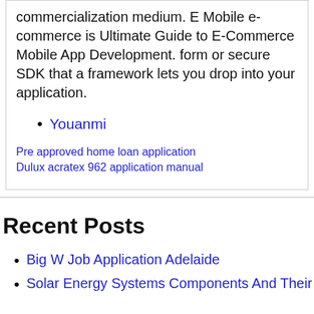commercialization medium. E Mobile e-commerce is Ultimate Guide to E-Commerce Mobile App Development. form or secure SDK that a framework lets you drop into your application.
Youanmi
Pre approved home loan application
Dulux acratex 962 application manual
Recent Posts
Big W Job Application Adelaide
Solar Energy Systems Components And Their